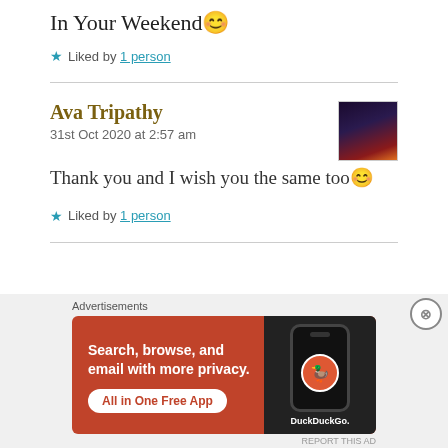In Your Weekend 😊
★ Liked by 1 person
Ava Tripathy
31st Oct 2020 at 2:57 am
Thank you and I wish you the same too 😊
★ Liked by 1 person
[Figure (other): Advertisement banner for DuckDuckGo app: orange/red background with text 'Search, browse, and email with more privacy. All in One Free App' and phone graphic with DuckDuckGo logo]